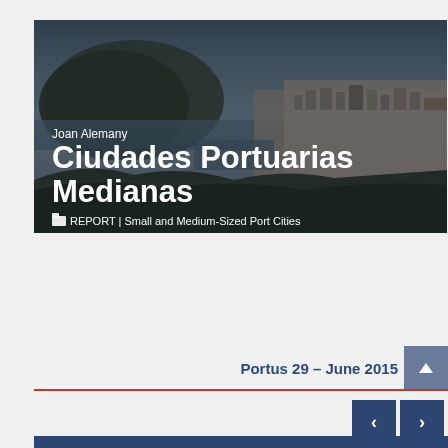[Figure (photo): Aerial/elevated view of a port city with island in the background, marina with boats, and dense urban buildings along the coastline. Overlaid with author name, title, and report tag.]
Ciudades Portuarias Medianas
Joan Alemany
REPORT | Small and Medium-Sized Port Cities
Portus 29 – June 2015